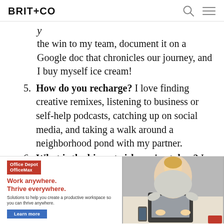BRIT+CO
the win to my team, document it on a Google doc that chronicles our journey, and I buy myself ice cream!
5. How do you recharge? I love finding creative remixes, listening to business or self-help podcasts, catching up on social media, and taking a walk around a neighborhood pond with my partner.
6. What is the biggest risk you've taken? I quit [my job] ... and [pursued] ... [a different path]
[Figure (infographic): Office Depot OfficeMax advertisement banner. Red logo box with 'Office Depot OfficeMax'. Headline in red: 'Work anywhere. Thrive everywhere.' Subtext: 'Solutions to help you create a productive workspace so you can thrive anywhere.' Blue 'Learn more' button. Right side shows a photo of a woman from above working on a laptop.]